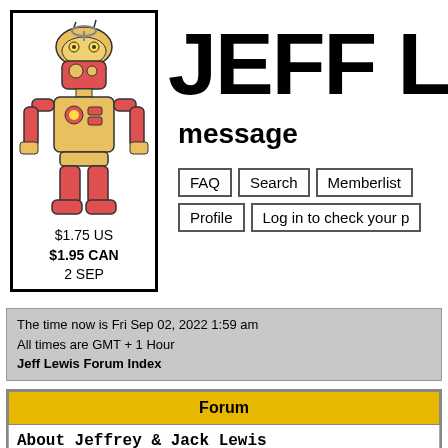[Figure (illustration): Comic book style robot character illustration in red/yellow colors]
$1.75 US
$1.95 CAN
2 SEP
JEFF L
message
FAQ  Search  Memberlist
Profile  Log in to check your p
The time now is Fri Sep 02, 2022 1:59 am
All times are GMT + 1 Hour
Jeff Lewis Forum Index
| Forum |
| --- |
| About Jeffrey & Jack Lewis |
| Music
Moderator Will Oldham |